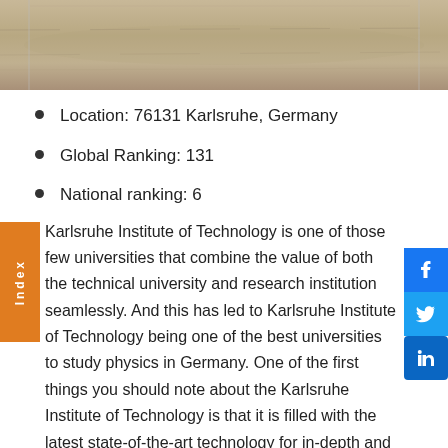[Figure (photo): Aerial or outdoor photo strip of what appears to be a road or landscape in muted beige/brown tones]
Location: 76131 Karlsruhe, Germany
Global Ranking: 131
National ranking: 6
Karlsruhe Institute of Technology is one of those few universities that combine the value of both the technical university and research institution seamlessly. And this has led to Karlsruhe Institute of Technology being one of the best universities to study physics in Germany. One of the first things you should note about the Karlsruhe Institute of Technology is that it is filled with the latest state-of-the-art technology for in-depth and heavy-duty research. So in essence they have some of the strongest